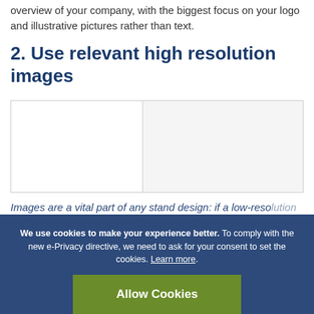overview of your company, with the biggest focus on your logo and illustrative pictures rather than text.
2. Use relevant high resolution images
[Figure (illustration): Placeholder image area with two panels divided by a vertical line, left panel white, right panel light gray]
Images are a vital part of any stand design: if a low-reso... the final display wi... unprofess... need to make sure the images you submit are a...
We use cookies to make your experience better. To comply with the new e-Privacy directive, we need to ask for your consent to set the cookies. Learn more.